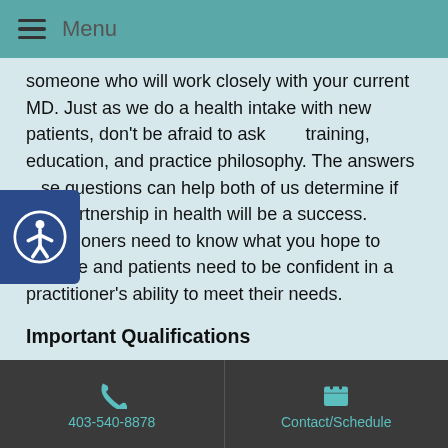Menu
someone who will work closely with your current MD. Just as we do a health intake with new patients, don't be afraid to ask training, education, and practice philosophy. The answers se questions can help both of us determine if this partnership in health will be a success. Practitioners need to know what you hope to achieve and patients need to be confident in a practitioner's ability to meet their needs.
Important Qualifications
Acupuncture is a respected field of medicine and most states require formal training and certification to practice. It is not uncommon for most states to require three to five years of study and a Master's degree in Oriental Medicine from an
403-540-8878   Contact/Schedule